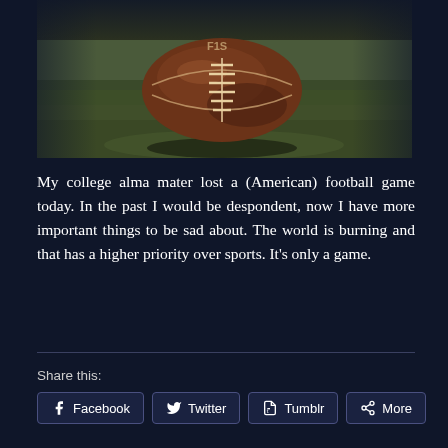[Figure (photo): Close-up photograph of an American football resting on green grass/turf field, shot from a low angle. The ball is brown leather with white laces and stitching. The background shows a blurred green field.]
My college alma mater lost a (American) football game today. In the past I would be despondent, now I have more important things to be sad about. The world is burning and that has a higher priority over sports. It's only a game.
Share this:
Facebook
Twitter
Tumblr
More